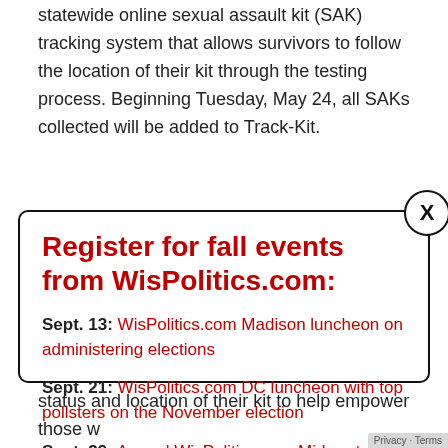statewide online sexual assault kit (SAK) tracking system that allows survivors to follow the location of their kit through the testing process. Beginning Tuesday, May 24, all SAKs collected will be added to Track-Kit.
Register for fall events from WisPolitics.com:
Sept. 13: WisPolitics.com Madison luncheon on administering elections
Sept. 21: WisPolitics.com DC luncheon with top pollsters on the November election
Sept. 29: Annual WisPolitics.com Midwest Polling Summit
Oct. 18: WisPolitics.com Madison luncheon on top legislative races
status and location of their kit to help empower those w